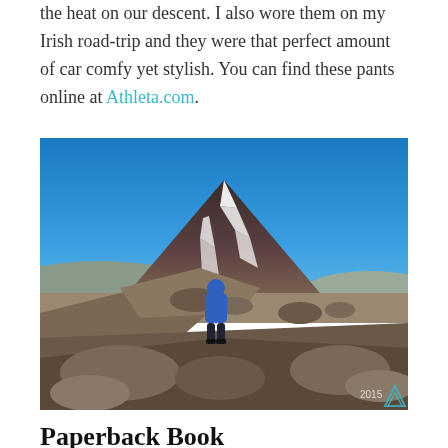the heat on our descent. I also wore them on my Irish road-trip and they were that perfect amount of car comfy yet stylish. You can find these pants online at Athleta.com.
[Figure (photo): A person in a blue jacket standing on a rocky ridge with a large volcanic mountain (Mount Ngauruhoe) in the background under a clear blue sky. A watermark in the bottom right corner reads '2015' with a mountain logo.]
Paperback Book